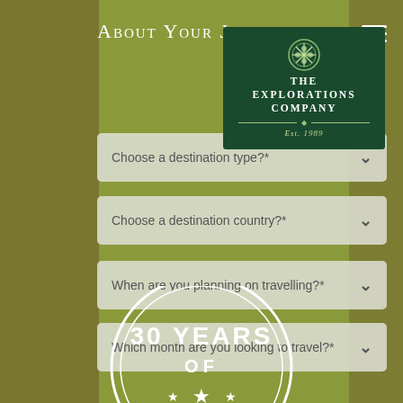About Your Journey
[Figure (logo): The Explorations Company logo — dark green box with ornate snowflake emblem, text 'THE EXPLORATIONS COMPANY Est. 1989']
Choose [a destination type?]*
Choose a destination country?*
When are you planning on travelling?*
Which month are you looking to travel?*
[Figure (illustration): 30 YEARS OF [excellence] circular stamp/badge in white on olive-green background, partially cut off at bottom]